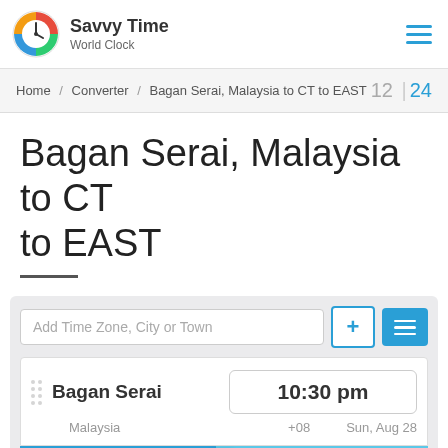Savvy Time World Clock
Home / Converter / Bagan Serai, Malaysia to CT to EAST  12 | 24
Bagan Serai, Malaysia to CT to EAST
Add Time Zone, City or Town
| City | Time | Offset | Date |
| --- | --- | --- | --- |
| Bagan Serai | 10:30 pm | +08 | Sun, Aug 28 |